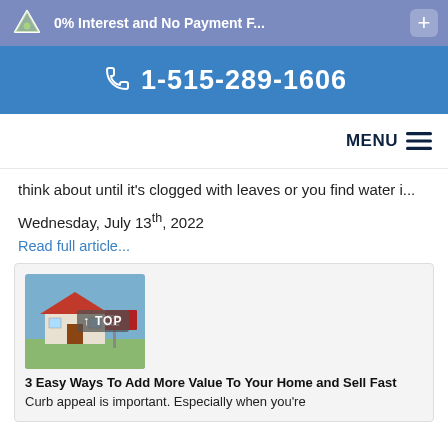0% Interest and No Payment F...
☎ 1-515-289-1606
MENU
think about until it's clogged with leaves or you find water i...
Wednesday, July 13th, 2022
Read full article...
[Figure (photo): House with For Sale sign, with TOP overlay badge]
3 Easy Ways To Add More Value To Your Home and Sell Fast
Curb appeal is important. Especially when you're